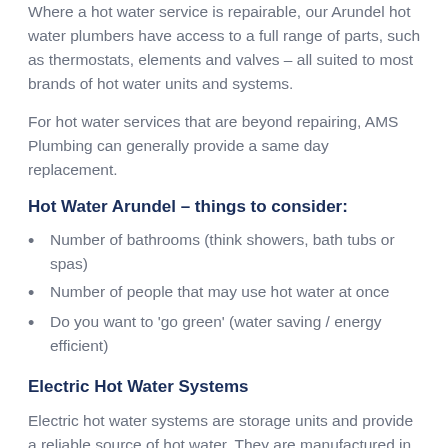Where a hot water service is repairable, our Arundel hot water plumbers have access to a full range of parts, such as thermostats, elements and valves – all suited to most brands of hot water units and systems.
For hot water services that are beyond repairing, AMS Plumbing can generally provide a same day replacement.
Hot Water Arundel – things to consider:
Number of bathrooms (think showers, bath tubs or spas)
Number of people that may use hot water at once
Do you want to 'go green' (water saving / energy efficient)
Electric Hot Water Systems
Electric hot water systems are storage units and provide a reliable source of hot water. They are manufactured in a wide range of sizes to suit any household and can be installed internally or externally.
Heat Pump Hot Water Systems